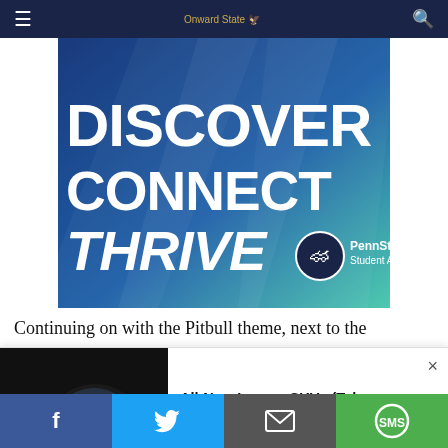Onward State navigation bar with menu and search icons
[Figure (illustration): Penn State Student Affairs advertisement banner with blue-to-teal gradient background showing the words DISCOVER, CONNECT, THRIVE in large white bold/italic text, with Penn State lion logo and 'PennState Student Affairs' branding in bottom right corner.]
Continuing on with the Pitbull theme, next to the
[Figure (photo): Pop-up advertisement showing a sleek black luxury concept car on the left, with text 'All-New Luxury SUVs (Take a Look at the Prices)' and source 'Crossover SUV | Search Ads | Sponsored' on the right. An X close button is in the top right corner.]
Social sharing bar with Facebook, Twitter, Email, and SMS buttons